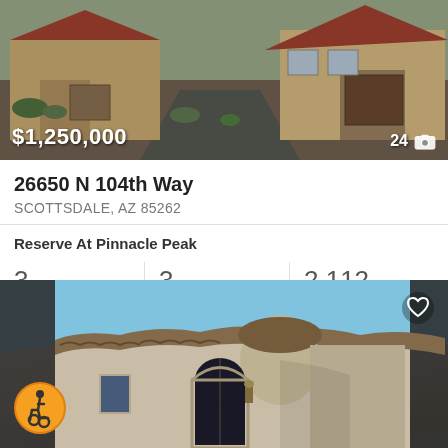[Figure (photo): Exterior photo of a Southwest-style home with tan stucco, red tile roof, and desert landscaping. Price overlay: $1,250,000. Photo count: 24.]
26650 N 104th Way
SCOTTSDALE, AZ 85262
Reserve At Pinnacle Peak
3 Beds   3 Baths   2,112 Sq.Ft.
ARMLS  Russ Lyon Sotheby's International Realty
[Figure (photo): Exterior photo of a Mediterranean-style home entrance with arched doorway, tile roof details, blue sky background. Wheelchair accessible icon at bottom left. Heart/favorite icon at top right.]